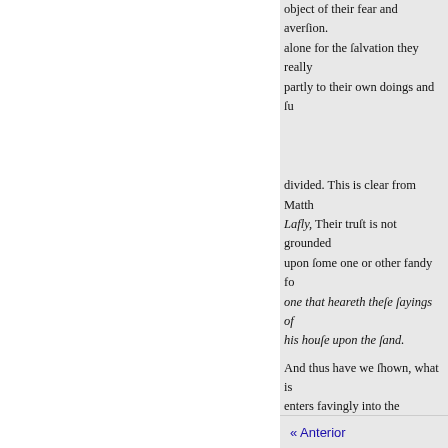object of their fear and aversion. alone for the salvation they really partly to their own doings and su
divided. This is clear from Matth. Lafly, Their trust is not grounded upon some one or other fandy fo one that heareth these sayings of his house upon the sand.
And thus have we shown, what is enters favingly into the covenant may be learned from Rom. iv. 6. shall only observe, that this trust means or instrument of union, be the soul is there. in so carried fo or fall with him; as the superstruc relying, resting, staying upon and of faith being infallible, they tha but abideth for ever, Pfal. cxxv. instated in the covenant to their e
[Figure (photo): Partial thumbnail image with brownish/golden texture, partially visible at bottom right]
« Anterior